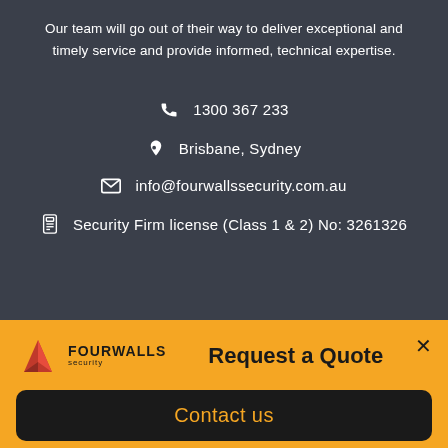Our team will go out of their way to deliver exceptional and timely service and provide informed, technical expertise.
📞 1300 367 233
📍 Brisbane, Sydney
✉ info@fourwallssecurity.com.au
🪪 Security Firm license (Class 1 & 2) No: 3261326
Request a Quote
Contact us